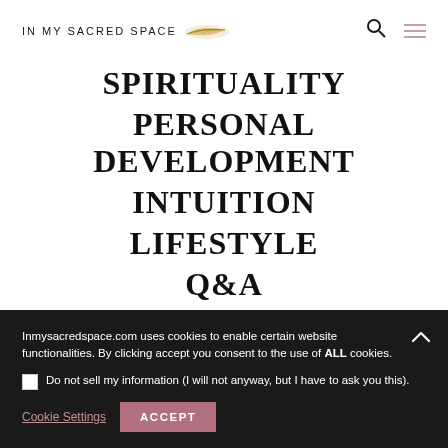IN MY SACRED SPACE
SPIRITUALITY
PERSONAL DEVELOPMENT
INTUITION
LIFESTYLE
Q&A
Inmysacredspace.com uses cookies to enable certain website functionalities. By clicking accept you consent to the use of ALL cookies.
Do not sell my information (I will not anyway, but I have to ask you this).
Cookie Settings  ACCEPT